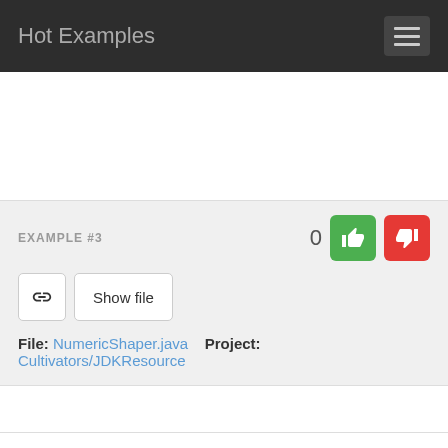Hot Examples
EXAMPLE #3
File: NumericShaper.java   Project: Cultivators/JDKResource
/**
 * Returns a contextual shaper for the pro